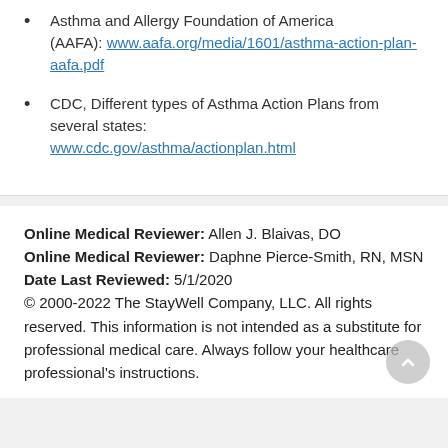Asthma and Allergy Foundation of America (AAFA): www.aafa.org/media/1601/asthma-action-plan-aafa.pdf
CDC, Different types of Asthma Action Plans from several states: www.cdc.gov/asthma/actionplan.html
Online Medical Reviewer: Allen J. Blaivas, DO
Online Medical Reviewer: Daphne Pierce-Smith, RN, MSN
Date Last Reviewed: 5/1/2020
© 2000-2022 The StayWell Company, LLC. All rights reserved. This information is not intended as a substitute for professional medical care. Always follow your healthcare professional's instructions.